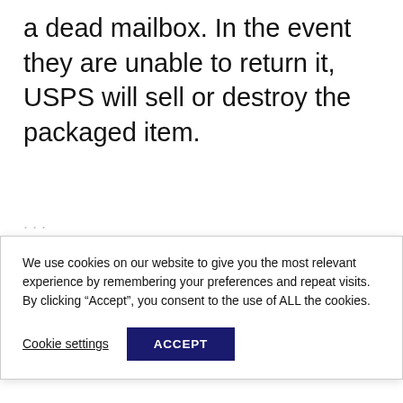a dead mailbox. In the event they are unable to return it, USPS will sell or destroy the packaged item.
We use cookies on our website to give you the most relevant experience by remembering your preferences and repeat visits. By clicking “Accept”, you consent to the use of ALL the cookies.
Cookie settings
ACCEPT
How To Refuse A Package USPS
Search for
1. ALL INCLUSIVE RESORT DEALS
2. SENIOR VACATION PACKAGE
Ad | Business Focus